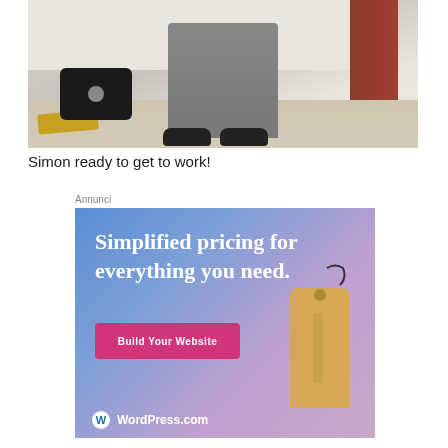[Figure (photo): Photo of a person (only lower body visible) standing in a room wearing grey pants and dark shoes/slippers. An open suitcase is on the floor to the left, along with a yellow book. A dark reddish door is visible in the background.]
Simon ready to get to work!
Annunci
[Figure (illustration): WordPress.com advertisement with blue-to-purple gradient background. Text reads 'Simplified pricing for everything you need.' with a pink 'Build Your Website' button and a price tag image. WordPress.com logo at the bottom.]